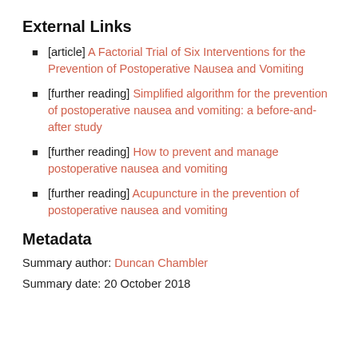External Links
[article] A Factorial Trial of Six Interventions for the Prevention of Postoperative Nausea and Vomiting
[further reading] Simplified algorithm for the prevention of postoperative nausea and vomiting: a before-and-after study
[further reading] How to prevent and manage postoperative nausea and vomiting
[further reading] Acupuncture in the prevention of postoperative nausea and vomiting
Metadata
Summary author: Duncan Chambler
Summary date: 20 October 2018